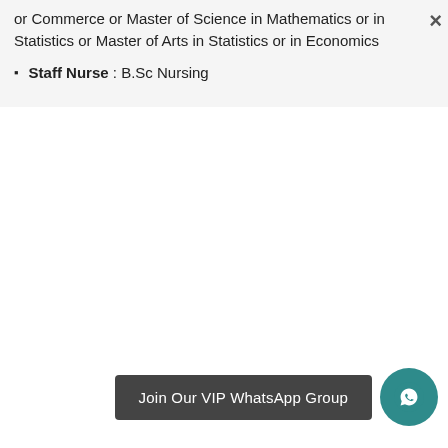or Commerce or Master of Science in Mathematics or in Statistics or Master of Arts in Statistics or in Economics
Staff Nurse : B.Sc Nursing
Join Our VIP WhatsApp Group